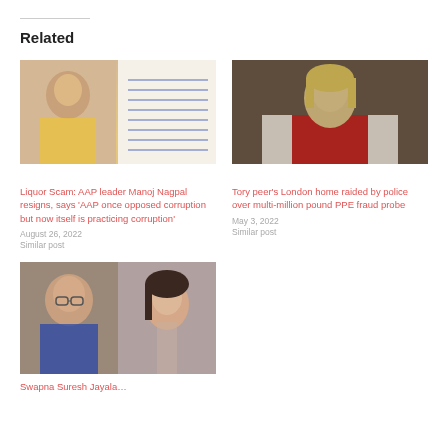Related
[Figure (photo): AAP leader Manoj Nagpal photo and a handwritten letter]
Liquor Scam: AAP leader Manoj Nagpal resigns, says 'AAP once opposed corruption but now itself is practicing corruption'
August 26, 2022
Similar post
[Figure (photo): Tory peer woman in ceremonial robes]
Tory peer's London home raided by police over multi-million pound PPE fraud probe
May 3, 2022
Similar post
[Figure (photo): Two people side by side — older man and young woman]
Swapna Suresh Jayala…